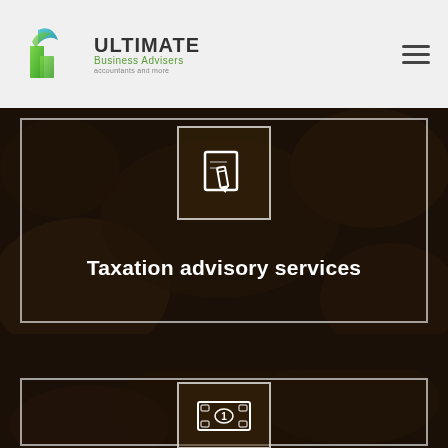[Figure (logo): Ultimate Business Advisers logo with green leaf/building icon and company name]
[Figure (screenshot): Dark background section with white-bordered box, edit/pen icon, heading 'Taxation advisory services' and 'Learn More' button]
Taxation advisory services
[Figure (screenshot): Dark background section with white-bordered box containing a dollar bill/money icon]